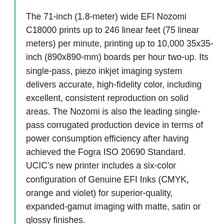The 71-inch (1.8-meter) wide EFI Nozomi C18000 prints up to 246 linear feet (75 linear meters) per minute, printing up to 10,000 35x35-inch (890x890-mm) boards per hour two-up. Its single-pass, piezo inkjet imaging system delivers accurate, high-fidelity color, including excellent, consistent reproduction on solid areas. The Nozomi is also the leading single-pass corrugated production device in terms of power consumption efficiency after having achieved the Fogra ISO 20690 Standard. UCIC’s new printer includes a six-color configuration of Genuine EFI Inks (CMYK, orange and violet) for superior-quality, expanded-gamut imaging with matte, satin or glossy finishes.
The Nozomi printer is driven by the Fiery® NZ-1000 digital front end (DFE), which provides outstanding